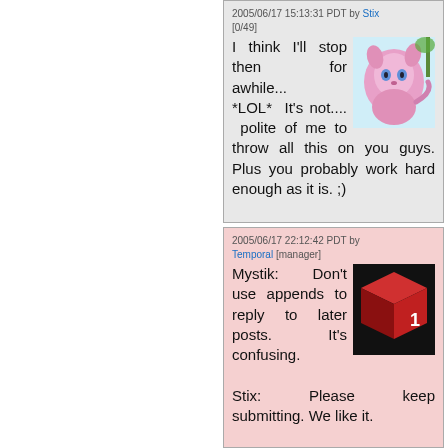2005/06/17 15:13:31 PDT by Stix [0/49]
I think I'll stop then for awhile... *LOL* It's not.... polite of me to throw all this on you guys. Plus you probably work hard enough as it is. ;)
2005/06/17 22:12:42 PDT by Temporal [manager]
Mystik: Don't use appends to reply to later posts. It's confusing.

Stix: Please keep submitting. We like it.